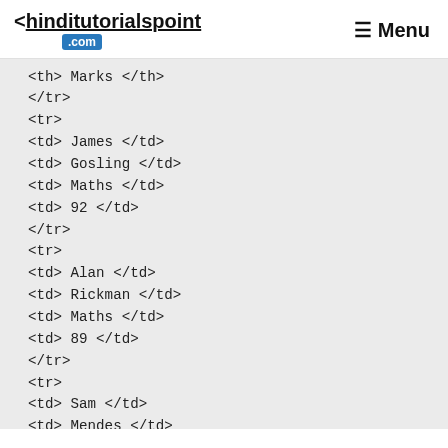< hinditutorialspoint .com   ≡ Menu
<th> Marks </th>
</tr>
<tr>
<td> James </td>
<td> Gosling </td>
<td> Maths </td>
<td> 92 </td>
</tr>
<tr>
<td> Alan </td>
<td> Rickman </td>
<td> Maths </td>
<td> 89 </td>
</tr>
<tr>
<td> Sam </td>
<td> Mendes </td>
<td> Maths </td>
<td> 82 </td>
</tr>
</table>
</body>